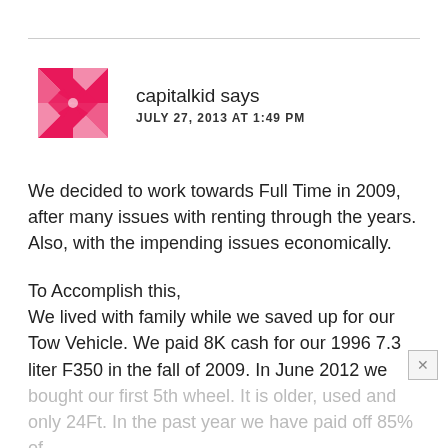[Figure (logo): Pink/magenta geometric logo resembling a pinwheel or diamond pattern made of triangular shapes]
capitalkid says
JULY 27, 2013 AT 1:49 PM
We decided to work towards Full Time in 2009, after many issues with renting through the years. Also, with the impending issues economically.
To Accomplish this,
We lived with family while we saved up for our Tow Vehicle. We paid 8K cash for our 1996 7.3 liter F350 in the fall of 2009. In June 2012 we bought our first 5th wheel. It is older, used and only 24Ft. In the past year we have paid off 85% of